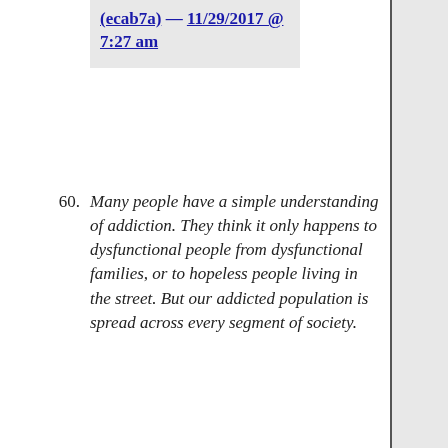(ecab7a) — 11/29/2017 @ 7:27 am
60. Many people have a simple understanding of addiction. They think it only happens to dysfunctional people from dysfunctional families, or to hopeless people living in the street. But our addicted population is spread across every segment of society.